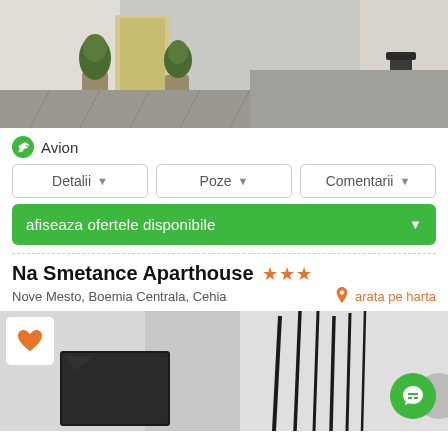[Figure (photo): Street scene with potted plants, patterned stone pavement, building doorway, and a trash bin in background]
Avion
Detalii
Poze
Comentarii
afiseaza ofertele disponibile
Na Smetance Aparthouse ★★★
Nove Mesto, Boemia Centrala, Cehia
arata pe harta
[Figure (photo): Interior of Na Smetance Aparthouse showing a black monitor/TV and dark vertical reed decor sticks against a light gray wall]